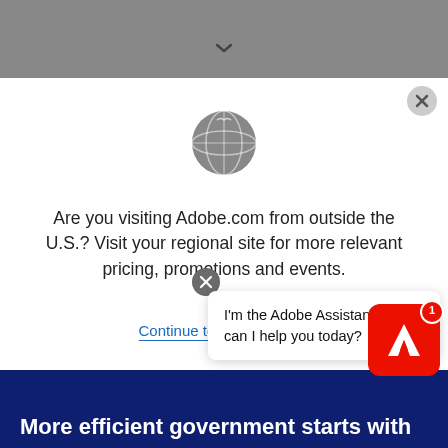[Figure (screenshot): Gray top navigation bar with a downward chevron/arrow icon centered]
[Figure (illustration): Close (X) button circle in top-right corner of modal]
[Figure (illustration): Gray globe/world icon centered in the modal]
Are you visiting Adobe.com from outside the U.S.? Visit your regional site for more relevant pricing, promotions and events.
Continue to United States
[Figure (illustration): Adobe Assistant chat bubble with close X button, showing text: I'm the Adobe Assistant. How can I help you today? With Adobe logo icon with badge showing 1]
More efficient government starts with